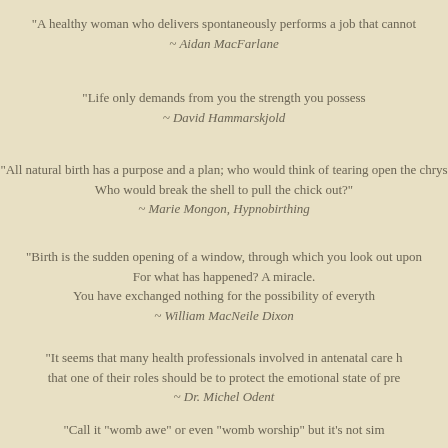“A healthy woman who delivers spontaneously performs a job that cannot… ~ Aidan MacFarlane
“Life only demands from you the strength you possess… ~ David Hammarskjold
“All natural birth has a purpose and a plan; who would think of tearing open the chrys… Who would break the shell to pull the chick out?” ~ Marie Mongon, Hypnobirthing
“Birth is the sudden opening of a window, through which you look out upon… For what has happened? A miracle. You have exchanged nothing for the possibility of everyth… ~ William MacNeile Dixon
“It seems that many health professionals involved in antenatal care h… that one of their roles should be to protect the emotional state of pre… ~ Dr. Michel Odent
“Call it “womb awe” or even “womb worship” but it’s not sim… I don’t remember even wanting to be a woman. But each of the three times I have been present at the birth of one o… I have been overwhelmed by a sense of reverence… It was quite suddenly, the first day of creation; the Goddess giving bi…